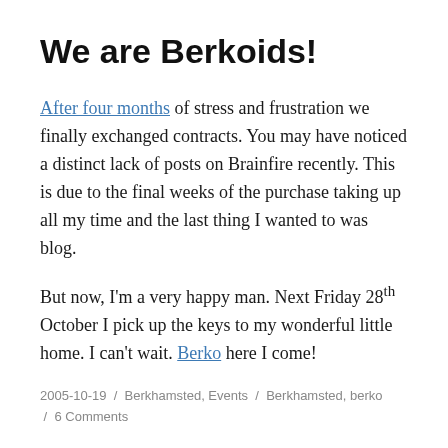We are Berkoids!
After four months of stress and frustration we finally exchanged contracts. You may have noticed a distinct lack of posts on Brainfire recently. This is due to the final weeks of the purchase taking up all my time and the last thing I wanted to was blog.
But now, I'm a very happy man. Next Friday 28th October I pick up the keys to my wonderful little home. I can't wait. Berko here I come!
2005-10-19 / Berkhamsted, Events / Berkhamsted, berko / 6 Comments